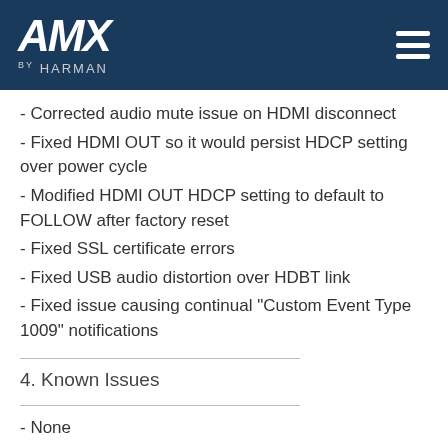AMX by HARMAN
- Corrected audio mute issue on HDMI disconnect
- Fixed HDMI OUT so it would persist HDCP setting over power cycle
- Modified HDMI OUT HDCP setting to default to FOLLOW after factory reset
- Fixed SSL certificate errors
- Fixed USB audio distortion over HDBT link
- Fixed issue causing continual "Custom Event Type 1009" notifications
4. Known Issues
- None